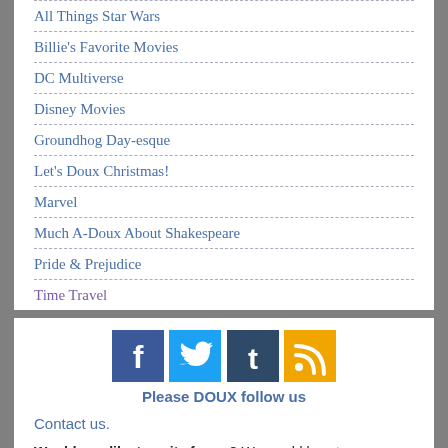All Things Star Wars
Billie's Favorite Movies
DC Multiverse
Disney Movies
Groundhog Day-esque
Let's Doux Christmas!
Marvel
Much A-Doux About Shakespeare
Pride & Prejudice
Time Travel
[Figure (infographic): Social media icons: Facebook (blue), Twitter (light blue), Tumblr (dark blue), RSS (yellow/orange)]
Please DOUX follow us
Contact us.
Would you like to write for us? We would love to cover Evil, shows on Disney+, as much Star Trek as possible, and we're open to suggestions. Apply here!